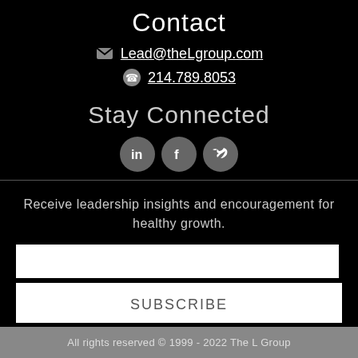Contact
Lead@theLgroup.com
214.789.8053
Stay Connected
[Figure (other): Social media icons: LinkedIn, Facebook, Twitter]
Receive leadership insights and encouragement for healthy growth.
SUBSCRIBE
All rights reserved © 1999 - 2022 The L Group